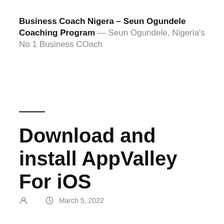Business Coach Nigera – Seun Ogundele Coaching Program — Seun Ogundele, Nigeria's No 1 Business COach
Download and install AppValley For iOS
March 5, 2022